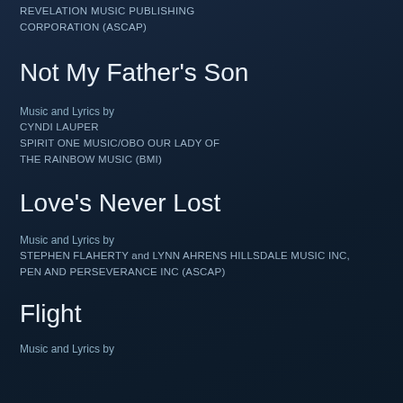REVELATION MUSIC PUBLISHING CORPORATION (ASCAP)
Not My Father’s Son
Music and Lyrics by
CYNDI LAUPER
SPIRIT ONE MUSIC/OBO OUR LADY OF THE RAINBOW MUSIC (BMI)
Love’s Never Lost
Music and Lyrics by
STEPHEN FLAHERTY and LYNN AHRENS HILLSDALE MUSIC INC, PEN AND PERSEVERANCE INC (ASCAP)
Flight
Music and Lyrics by